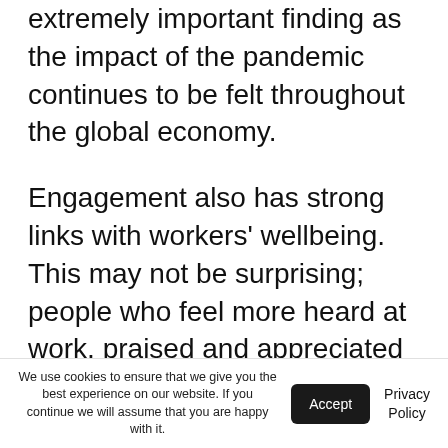extremely important finding as the impact of the pandemic continues to be felt throughout the global economy.
Engagement also has strong links with workers' wellbeing. This may not be surprising; people who feel more heard at work, praised and appreciated for their contributions, or feel that they are playing to their strengths tend to feel better about their lives overall. On the other hand, the majority of actively disengaged employees in Europe
We use cookies to ensure that we give you the best experience on our website. If you continue we will assume that you are happy with it.
Accept
Privacy Policy